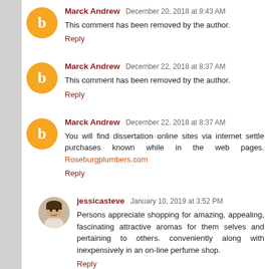Marck Andrew  December 20, 2018 at 9:43 AM
This comment has been removed by the author.
Reply
Marck Andrew  December 22, 2018 at 8:37 AM
This comment has been removed by the author.
Reply
Marck Andrew  December 22, 2018 at 8:37 AM
You will find dissertation online sites via internet settle purchases known while in the web pages. Roseburgplumbers.com
Reply
jessicasteve  January 10, 2019 at 3:52 PM
Persons appreciate shopping for amazing, appealing, fascinating attractive aromas for them selves and pertaining to others. conveniently along with inexpensively in an on-line perfume shop.
Reply